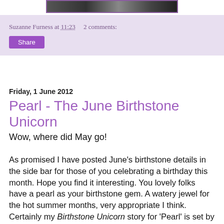[Figure (photo): Partial banner image — dark background with indistinct figures, framed with a purple border]
Suzanne Furness at 11:23    2 comments:
Share
Friday, 1 June 2012
Pearl - The June Birthstone Unicorn
Wow, where did May go!
As promised I have posted June's birthstone details in the side bar for those of you celebrating a birthday this month. Hope you find it interesting. You lovely folks have a pearl as your birthstone gem. A watery jewel for the hot summer months, very appropriate I think. Certainly my Birthstone Unicorn story for 'Pearl' is set by the sea. I'll post an extract later in the month. Meanwhile, the verse for June from the